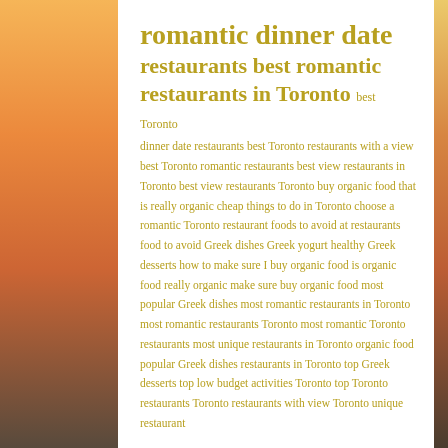romantic dinner date restaurants best romantic restaurants in Toronto best Toronto dinner date restaurants best Toronto restaurants with a view best Toronto romantic restaurants best view restaurants in Toronto best view restaurants Toronto buy organic food that is really organic cheap things to do in Toronto choose a romantic Toronto restaurant foods to avoid at restaurants food to avoid Greek dishes Greek yogurt healthy Greek desserts how to make sure I buy organic food is organic food really organic make sure buy organic food most popular Greek dishes most romantic restaurants in Toronto most romantic restaurants Toronto most romantic Toronto restaurants most unique restaurants in Toronto organic food popular Greek dishes restaurants in Toronto top Greek desserts top low budget activities Toronto top Toronto restaurants Toronto restaurants with view Toronto unique restaurant